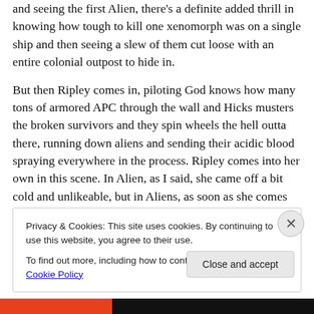and seeing the first Alien, there's a definite added thrill in knowing how tough to kill one xenomorph was on a single ship and then seeing a slew of them cut loose with an entire colonial outpost to hide in.
But then Ripley comes in, piloting God knows how many tons of armored APC through the wall and Hicks musters the broken survivors and they spin wheels the hell outta there, running down aliens and sending their acidic blood spraying everywhere in the process. Ripley comes into her own in this scene. In Alien, as I said, she came off a bit cold and unlikeable, but in Aliens, as soon as she comes
Privacy & Cookies: This site uses cookies. By continuing to use this website, you agree to their use.
To find out more, including how to control cookies, see here: Cookie Policy
Close and accept